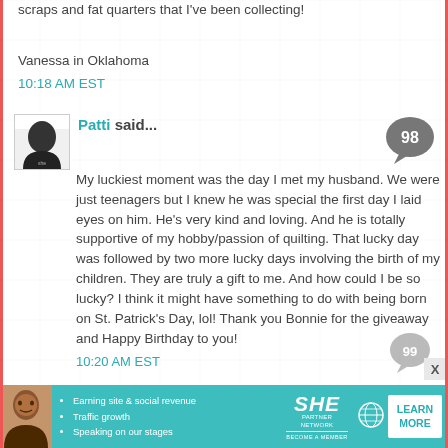scraps and fat quarters that I've been collecting!
Vanessa in Oklahoma
10:18 AM EST
Patti said...
My luckiest moment was the day I met my husband. We were just teenagers but I knew he was special the first day I laid eyes on him. He's very kind and loving. And he is totally supportive of my hobby/passion of quilting. That lucky day was followed by two more lucky days involving the birth of my children. They are truly a gift to me. And how could I be so lucky? I think it might have something to do with being born on St. Patrick's Day, lol! Thank you Bonnie for the giveaway and Happy Birthday to you!
10:20 AM EST